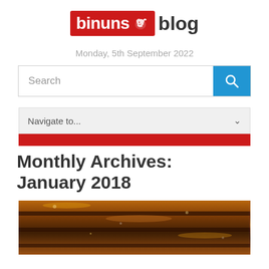[Figure (logo): binuns blog logo — red box with white 'binuns' text and squirrel icon, followed by bold grey 'blog' text]
Monday, 5th September 2022
[Figure (screenshot): Search bar with text 'Search' and blue search button with magnifying glass icon]
[Figure (screenshot): Navigation dropdown bar with text 'Navigate to...' and chevron, plus red bar below]
Monthly Archives: January 2018
[Figure (photo): Close-up photo of grilled/barbecued meat with grill marks and caramelized surface]